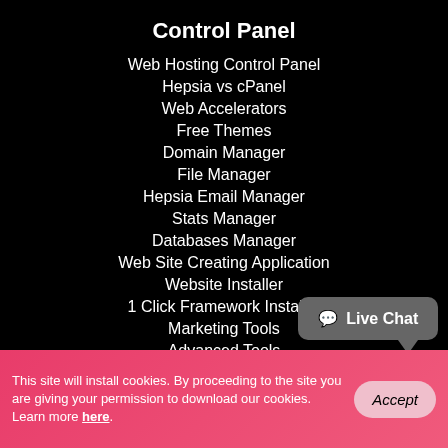Control Panel
Web Hosting Control Panel
Hepsia vs cPanel
Web Accelerators
Free Themes
Domain Manager
File Manager
Hepsia Email Manager
Stats Manager
Databases Manager
Web Site Creating Application
Website Installer
1 Click Framework Installer
Marketing Tools
Advanced Tools
This site will install cookies. By proceeding to the site you are giving your permission to download our cookies. Learn more here.